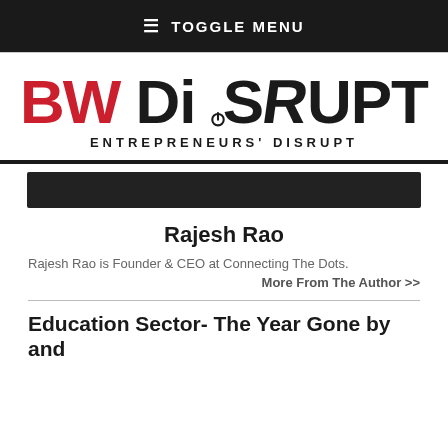≡ TOGGLE MENU
[Figure (logo): BW DiSRUPT logo with red BW and black DiSRUPT text, tagline ENTREPRENEURS' DISRUPT]
[Figure (other): Dark banner/bar decorative element]
Rajesh Rao
Rajesh Rao is Founder & CEO at Connecting The Dots.
More From The Author >>
Education Sector- The Year Gone by and